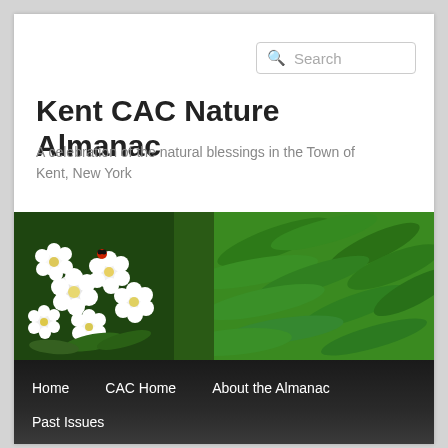Search
Kent CAC Nature Almanac
A celebration of the natural blessings in the Town of Kent, New York
[Figure (photo): Close-up photo of white flowers with green fern leaves in the background]
Home
CAC Home
About the Almanac
Past Issues